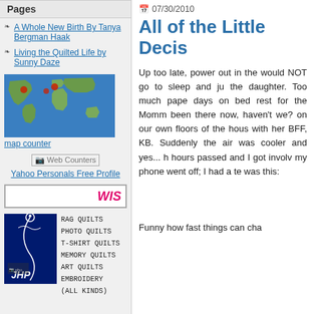Pages
A Whole New Birth By Tanya Bergman Haak
Living the Quilted Life by Sunny Daze
[Figure (map): World map with red location markers]
map counter
[Figure (other): Web Counters badge]
Yahoo Personals Free Profile
[Figure (other): WIS partial banner]
[Figure (other): JHP quilt services advertisement with logo and list of services: RAG QUILTS, PHOTO QUILTS, T-SHIRT QUILTS, MEMORY QUILTS, ART QUILTS, EMBROIDERY (ALL KINDS)]
07/30/2010
All of the Little Decis
Up too late, power out in the would NOT go to sleep and ju the daughter. Too much pape days on bed rest for the Momm been there now, haven't we? on our own floors of the hous with her BFF, KB. Suddenly the air was cooler and yes... h hours passed and I got involv my phone went off; I had a te was this:
Funny how fast things can cha